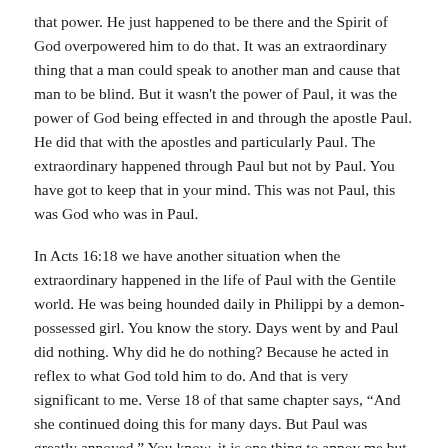that power. He just happened to be there and the Spirit of God overpowered him to do that. It was an extraordinary thing that a man could speak to another man and cause that man to be blind. But it wasn't the power of Paul, it was the power of God being effected in and through the apostle Paul. He did that with the apostles and particularly Paul. The extraordinary happened through Paul but not by Paul. You have got to keep that in your mind. This was not Paul, this was God who was in Paul.
In Acts 16:18 we have another situation when the extraordinary happened in the life of Paul with the Gentile world. He was being hounded daily in Philippi by a demon-possessed girl. You know the story. Days went by and Paul did nothing. Why did he do nothing? Because he acted in reflex to what God told him to do. And that is very significant to me. Verse 18 of that same chapter says, “And she continued doing this for many days. But Paul was greatly annoyed.” You know, it is one thing to annoy me but it is another thing to annoy the apostle Paul. And God chose in that moment his being annoyed, to do something. He says, “And turned and said to the demonic spirit, ‘I command you in the name of Jesus Christ to come out of her!’ And it came out at that very moment.”